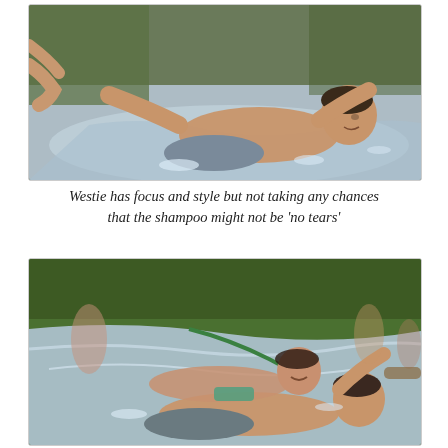[Figure (photo): A young shirtless man sliding on his stomach on a wet plastic slip-and-slide, arms outstretched, eyes open and focused, with another person's hands visible on the left edge. Outdoor setting with green grass visible in background.]
Westie has focus and style but not taking any chances that the shampoo might not be 'no tears'
[Figure (photo): Two people sliding together on a wet plastic slip-and-slide outdoors on green grass. Multiple other people visible in the background. The scene appears to be a group outdoor party activity.]